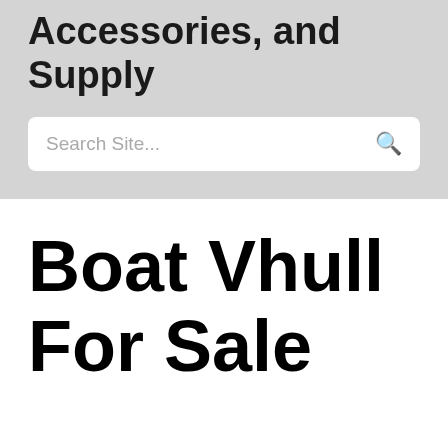Accessories, and Supply
Search Site...
Boat Vhull For Sale